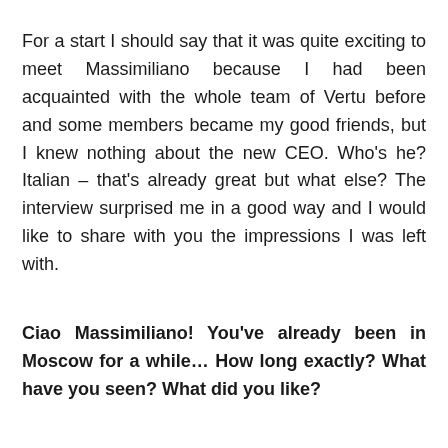For a start I should say that it was quite exciting to meet Massimiliano because I had been acquainted with the whole team of Vertu before and some members became my good friends, but I knew nothing about the new CEO. Who's he? Italian – that's already great but what else? The interview surprised me in a good way and I would like to share with you the impressions I was left with.
Ciao Massimiliano! You've already been in Moscow for a while… How long exactly? What have you seen? What did you like?